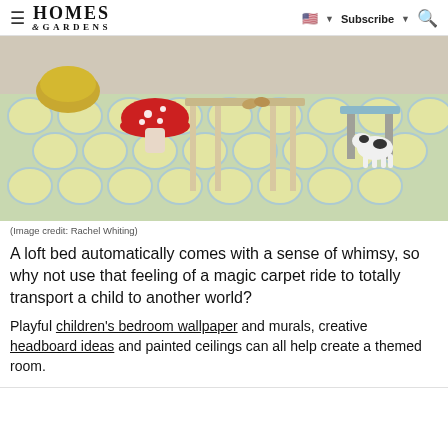HOMES & GARDENS | Subscribe | [flag icon] [search icon]
[Figure (photo): Children's room scene showing a patterned yellow and blue geometric rug on a wooden floor, with a red mushroom-shaped stool, a gold pouf, a small wooden bench, a blue step stool, and a toy dog figurine.]
(Image credit: Rachel Whiting)
A loft bed automatically comes with a sense of whimsy, so why not use that feeling of a magic carpet ride to totally transport a child to another world?
Playful children's bedroom wallpaper and murals, creative headboard ideas and painted ceilings can all help create a themed room.